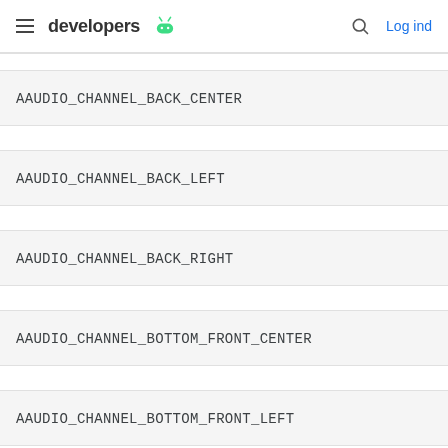developers  Log ind
AAUDIO_CHANNEL_BACK_CENTER
AAUDIO_CHANNEL_BACK_LEFT
AAUDIO_CHANNEL_BACK_RIGHT
AAUDIO_CHANNEL_BOTTOM_FRONT_CENTER
AAUDIO_CHANNEL_BOTTOM_FRONT_LEFT